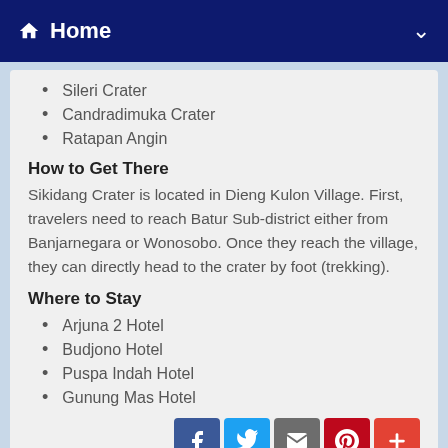Home
Sileri Crater
Candradimuka Crater
Ratapan Angin
How to Get There
Sikidang Crater is located in Dieng Kulon Village. First, travelers need to reach Batur Sub-district either from Banjarnegara or Wonosobo. Once they reach the village, they can directly head to the crater by foot (trekking).
Where to Stay
Arjuna 2 Hotel
Budjono Hotel
Puspa Indah Hotel
Gunung Mas Hotel
[Figure (infographic): Social sharing buttons: Facebook, Twitter, Email/share, Pinterest, More (+)]
[Figure (photo): Bottom image strip partially visible]